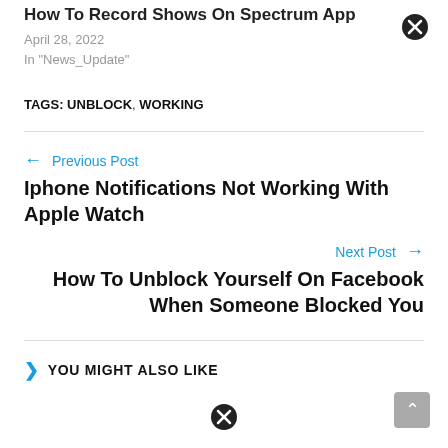How To Record Shows On Spectrum App
April 28, 2022
In "News_Update"
TAGS: UNBLOCK, WORKING
← Previous Post
Iphone Notifications Not Working With Apple Watch
Next Post →
How To Unblock Yourself On Facebook When Someone Blocked You
YOU MIGHT ALSO LIKE